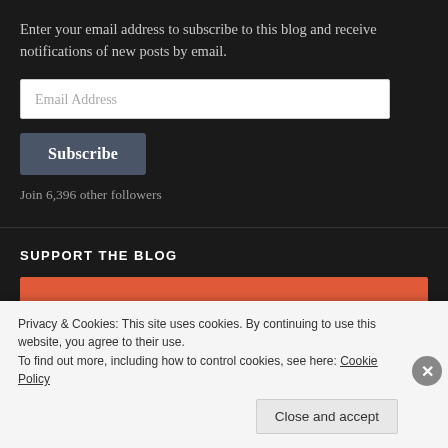Enter your email address to subscribe to this blog and receive notifications of new posts by email.
Email Address
Subscribe
Join 6,396 other followers
SUPPORT THE BLOG
[Figure (other): Orange book cover banner with circular logo and bold text]
Privacy & Cookies: This site uses cookies. By continuing to use this website, you agree to their use.
To find out more, including how to control cookies, see here: Cookie Policy
Close and accept